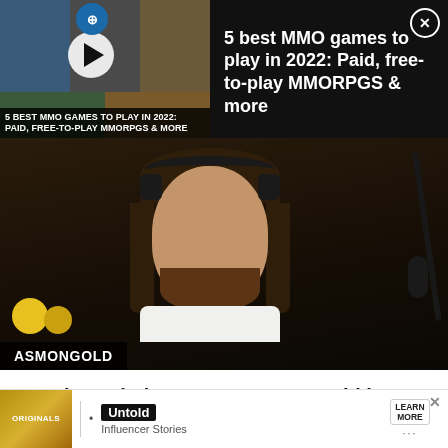[Figure (screenshot): Video ad banner for '5 best MMO games to play in 2022: Paid, free-to-play MMORPGS & more' with thumbnail grid and play button on left, title text and close button on right, dark background]
[Figure (photo): Twitch streamer Asmongold sitting at microphone setup with long dark hair, beard, white t-shirt and headphones, with 'ASMONGOLD' label overlay at bottom left]
Popular Twitch streamer Asmongold has called for Blizza… …s in WoW… …ing as
[Figure (screenshot): Bottom ad overlay: Originals logo on left, dot separator, 'Untold Influencer Stories' text in center, 'LEARN MORE' button on right, X close button top right]